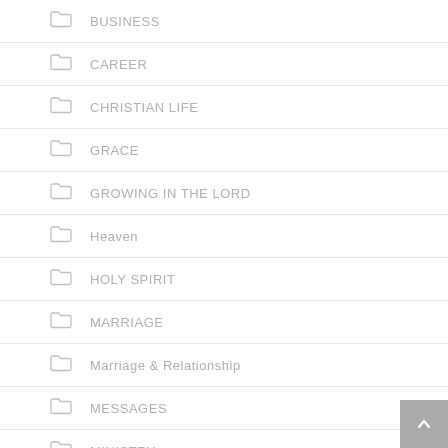BUSINESS
CAREER
CHRISTIAN LIFE
GRACE
GROWING IN THE LORD
Heaven
HOLY SPIRIT
MARRIAGE
Marriage & Relationship
MESSAGES
MINISTRY
RESTITUTION